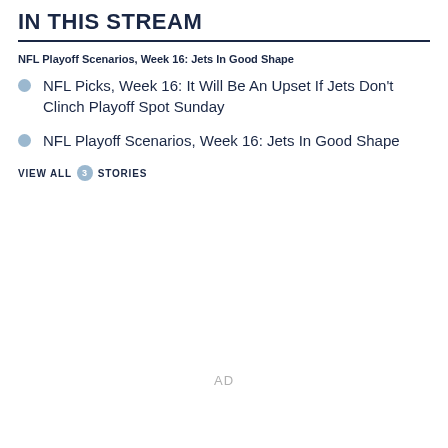IN THIS STREAM
NFL Playoff Scenarios, Week 16: Jets In Good Shape
NFL Picks, Week 16: It Will Be An Upset If Jets Don't Clinch Playoff Spot Sunday
NFL Playoff Scenarios, Week 16: Jets In Good Shape
VIEW ALL 3 STORIES
AD